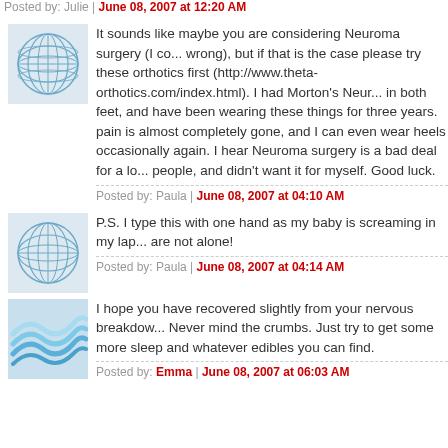Posted by: Julie | June 08, 2007 at 12:20 AM
[Figure (illustration): Blue circular globe/network avatar icon]
It sounds like maybe you are considering Neuroma surgery (I could be wrong), but if that is the case please try these orthotics first (http://www.theta-orthotics.com/index.html). I had Morton's Neuroma in both feet, and have been wearing these things for three years. The pain is almost completely gone, and I can even wear heels occasionally again. I hear Neuroma surgery is a bad deal for a lot of people, and didn't want it for myself. Good luck.
Posted by: Paula | June 08, 2007 at 04:10 AM
[Figure (illustration): Blue circular globe/network avatar icon]
P.S. I type this with one hand as my baby is screaming in my lap. You are not alone!
Posted by: Paula | June 08, 2007 at 04:14 AM
[Figure (illustration): Blue wavy lines avatar icon]
I hope you have recovered slightly from your nervous breakdown. Never mind the crumbs. Just try to get some more sleep and whatever edibles you can find.
Posted by: Emma | June 08, 2007 at 06:03 AM